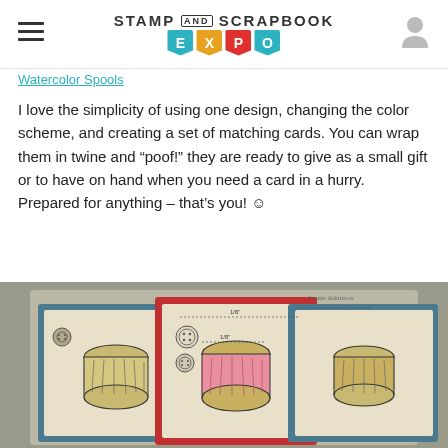Stamp and Scrapbook EXPO
Watercolor Spools
I love the simplicity of using one design, changing the color scheme, and creating a set of matching cards. You can wrap them in twine and “poof!” they are ready to give as a small gift or to have on hand when you need a card in a hurry. Prepared for anything – that’s you! ☺
[Figure (photo): Photo of handmade greeting cards featuring watercolor spool/thread designs with buttons, arranged in a fan display. Cards show sketched spool illustrations with pink, blue, and tan color schemes. Watermark reads Jennie Atkinson.]